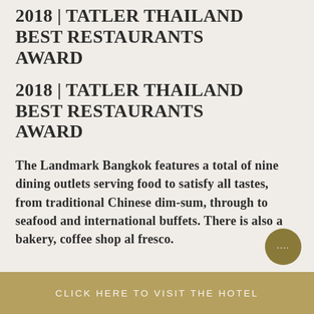2018 | TATLER THAILAND BEST RESTAURANTS AWARD
2018 | TATLER THAILAND BEST RESTAURANTS AWARD
The Landmark Bangkok features a total of nine dining outlets serving food to satisfy all tastes, from traditional Chinese dim-sum, through to seafood and international buffets. There is also a bakery, coffee shop al fresco.
CLICK HERE TO VISIT THE HOTEL